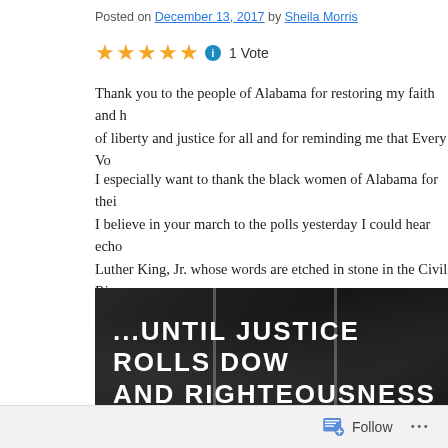Posted on December 13, 2017 by Sheila Morris
★★★★★ ℹ 1 Vote
Thank you to the people of Alabama for restoring my faith and hope in liberty and justice for all and for reminding me that Every Vo…
I especially want to thank the black women of Alabama for their… I believe in your march to the polls yesterday I could hear echoes of Luther King, Jr. whose words are etched in stone in the Civil Ri… Alabama.
[Figure (photo): Dark stone monument with white engraved text reading '...UNTIL JUSTICE ROLLS DOW' and 'AND RIGHTEOUSNESS LIKE A', Civil Rights memorial stone]
Follow ...